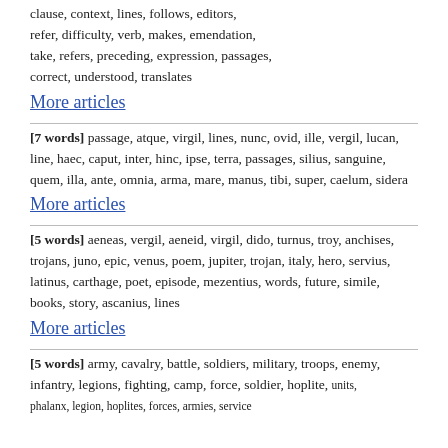clause, context, lines, follows, editors, refer, difficulty, verb, makes, emendation, take, refers, preceding, expression, passages, correct, understood, translates
More articles
[7 words] passage, atque, virgil, lines, nunc, ovid, ille, vergil, lucan, line, haec, caput, inter, hinc, ipse, terra, passages, silius, sanguine, quem, illa, ante, omnia, arma, mare, manus, tibi, super, caelum, sidera
More articles
[5 words] aeneas, vergil, aeneid, virgil, dido, turnus, troy, anchises, trojans, juno, epic, venus, poem, jupiter, trojan, italy, hero, servius, latinus, carthage, poet, episode, mezentius, words, future, simile, books, story, ascanius, lines
More articles
[5 words] army, cavalry, battle, soldiers, military, troops, enemy, infantry, legions, fighting, camp, force, soldier, hoplite, units, phalanx, legion, hoplites, forces, armies, service